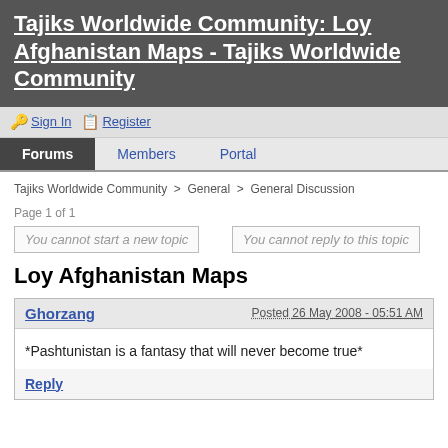Tajiks Worldwide Community: Loy Afghanistan Maps - Tajiks Worldwide Community
Sign In  Register
Forums  Members  Portal
Tajiks Worldwide Community > General > General Discussion
Page 1 of 1
You cannot start a new topic
You cannot reply to this topic
Loy Afghanistan Maps
Ghorzang  Posted 26 May 2008 - 05:51 AM
*Pashtunistan is a fantasy that will never become true*
Reply